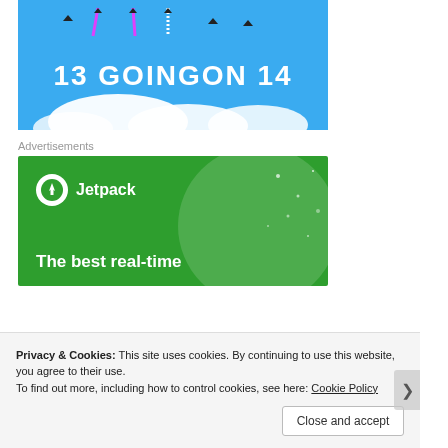[Figure (photo): Blue sky with aerobatic planes trailing colored smoke, white clouds at bottom, bold white text '13 GOINGON 14' overlaid]
Advertisements
[Figure (illustration): Jetpack advertisement banner with green background, circular highlight, Jetpack logo and text 'The best real-time']
Privacy & Cookies: This site uses cookies. By continuing to use this website, you agree to their use.
To find out more, including how to control cookies, see here: Cookie Policy
Close and accept